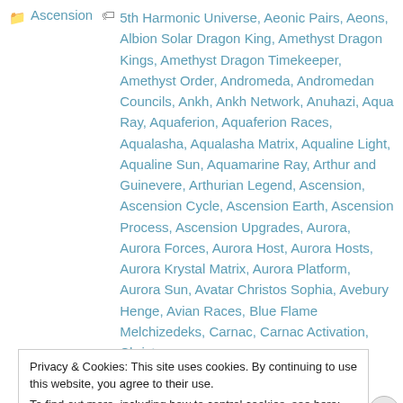Ascension  5th Harmonic Universe, Aeonic Pairs, Aeons, Albion Solar Dragon King, Amethyst Dragon Kings, Amethyst Dragon Timekeeper, Amethyst Order, Andromeda, Andromedan Councils, Ankh, Ankh Network, Anuhazi, Aqua Ray, Aquaferion, Aquaferion Races, Aqualasha, Aqualasha Matrix, Aqualine Light, Aqualine Sun, Aquamarine Ray, Arthur and Guinevere, Arthurian Legend, Ascension, Ascension Cycle, Ascension Earth, Ascension Process, Ascension Upgrades, Aurora, Aurora Forces, Aurora Host, Aurora Hosts, Aurora Krystal Matrix, Aurora Platform, Aurora Sun, Avatar Christos Sophia, Avebury Henge, Avian Races, Blue Flame Melchizedeks, Carnac, Carnac Activation, Christ
Privacy & Cookies: This site uses cookies. By continuing to use this website, you agree to their use.
To find out more, including how to control cookies, see here: Cookie Policy